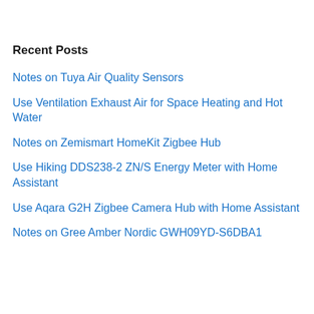Recent Posts
Notes on Tuya Air Quality Sensors
Use Ventilation Exhaust Air for Space Heating and Hot Water
Notes on Zemismart HomeKit Zigbee Hub
Use Hiking DDS238-2 ZN/S Energy Meter with Home Assistant
Use Aqara G2H Zigbee Camera Hub with Home Assistant
Notes on Gree Amber Nordic GWH09YD-S6DBA1